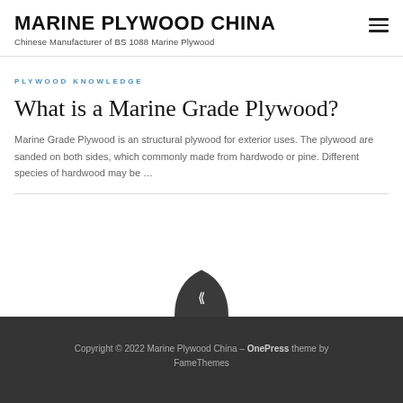MARINE PLYWOOD CHINA
Chinese Manufacturer of BS 1088 Marine Plywood
PLYWOOD KNOWLEDGE
What is a Marine Grade Plywood?
Marine Grade Plywood is an structural plywood for exterior uses. The plywood are sanded on both sides, which commonly made from hardwodo or pine. Different species of hardwood may be ...
Copyright © 2022 Marine Plywood China – OnePress theme by FameThemes